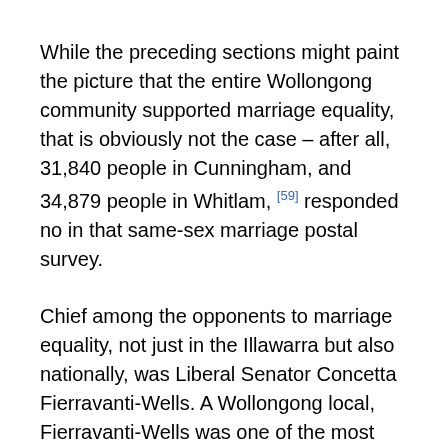While the preceding sections might paint the picture that the entire Wollongong community supported marriage equality, that is obviously not the case – after all, 31,840 people in Cunningham, and 34,879 people in Whitlam, [59] responded no in that same-sex marriage postal survey.
Chief among the opponents to marriage equality, not just in the Illawarra but also nationally, was Liberal Senator Concetta Fierravanti-Wells. A Wollongong local, Fierravanti-Wells was one of the most vocal figures in Parliament against full equality for LGBTI relationships.
During a 2008 debate on the Same Sex Relationships (Equal Treatment in Commonwealth Laws – Superannuation) Bill, Senator Fierravanti-Wells spoke out against marriage equality, even though it was not being